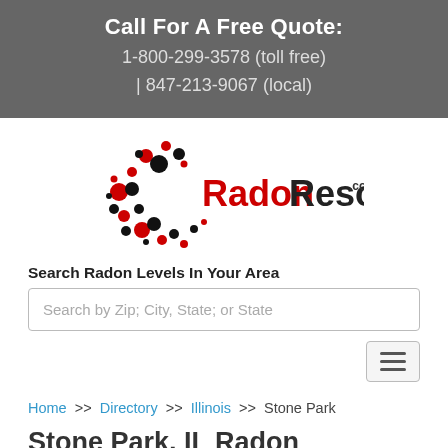Call For A Free Quote:
1-800-299-3578 (toll free) | 847-213-9067 (local)
[Figure (logo): RadonResources.com logo with red and black dots arranged in a circle pattern, red text 'Radon' and black text 'Resources' with '.com' superscript]
Search Radon Levels In Your Area
Search by Zip; City, State; or State
Home >> Directory >> Illinois >> Stone Park
Stone Park, IL Radon Mitigation and